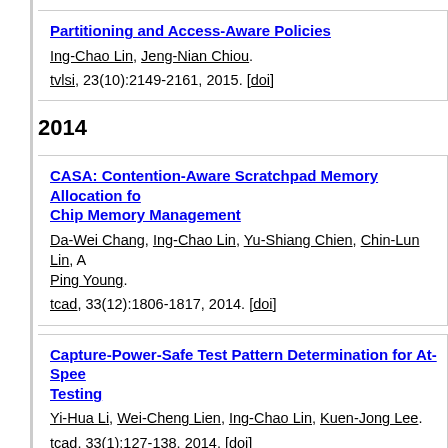Partitioning and Access-Aware Policies
Ing-Chao Lin, Jeng-Nian Chiou.
tvlsi, 23(10):2149-2161, 2015. [doi]
2014
CASA: Contention-Aware Scratchpad Memory Allocation for Chip Memory Management
Da-Wei Chang, Ing-Chao Lin, Yu-Shiang Chien, Chin-Lun Lin, A... Ping Young.
tcad, 33(12):1806-1817, 2014. [doi]
Capture-Power-Safe Test Pattern Determination for At-Speed Testing
Yi-Hua Li, Wei-Cheng Lien, Ing-Chao Lin, Kuen-Jong Lee.
tcad, 33(1):127-138, 2014. [doi]
Analyzing the BTI Effect on Multi-bit Retention Registers